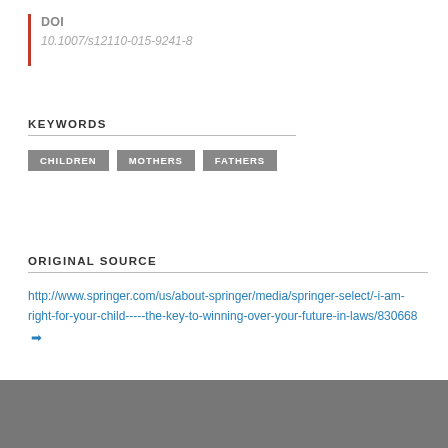DOI
10.1007/s12110-015-9241-8
KEYWORDS
CHILDREN  MOTHERS  FATHERS
ORIGINAL SOURCE
http://www.springer.com/us/about-springer/media/springer-select/-i-am-right-for-your-child-----the-key-to-winning-over-your-future-in-laws/830668